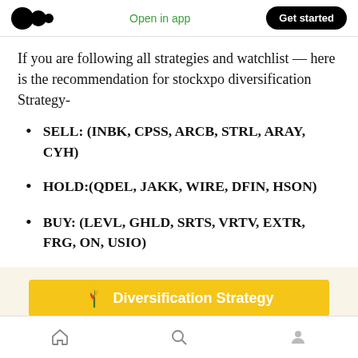Open in app | Get started
If you are following all strategies and watchlist — here is the recommendation for stockxpo diversification Strategy-
SELL: (INBK, CPSS, ARCB, STRL, ARAY, CYH)
HOLD:(QDEL, JAKK, WIRE, DFIN, HSON)
BUY: (LEVL, GHLD, SRTS, VRTV, EXTR, FRG, ON, USIO)
[Figure (other): Yellow banner with plant icon reading Diversification Strategy]
Home | Search | Profile navigation icons